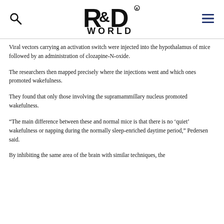R&D WORLD
Viral vectors carrying an activation switch were injected into the hypothalamus of mice followed by an administration of clozapine-N-oxide.
The researchers then mapped precisely where the injections went and which ones promoted wakefulness.
They found that only those involving the supramammillary nucleus promoted wakefulness.
“The main difference between these and normal mice is that there is no ‘quiet’ wakefulness or napping during the normally sleep-enriched daytime period,” Pedersen said.
By inhibiting the same area of the brain with similar techniques, the